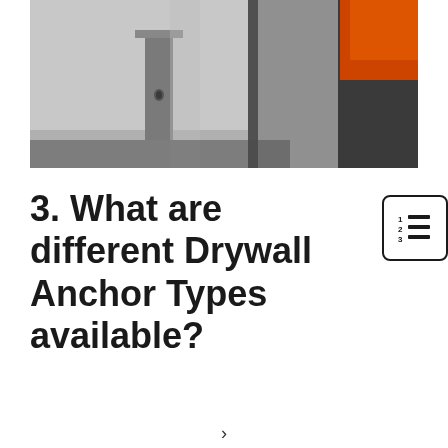[Figure (photo): Close-up photo of a drywall anchor or metal bracket attached to a grey drywall surface, with an orange object visible in the upper right corner and a dark background.]
3. What are different Drywall Anchor Types available?